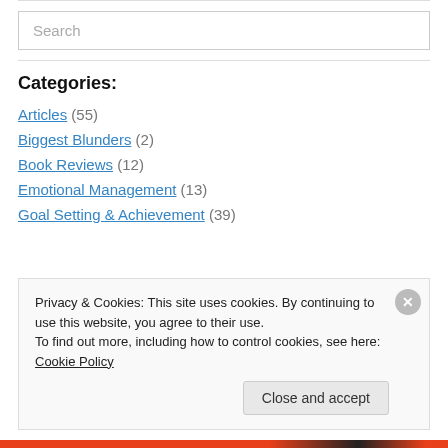[Figure (other): Search input box with placeholder text 'Search']
Categories:
Articles (55)
Biggest Blunders (2)
Book Reviews (12)
Emotional Management (13)
Goal Setting & Achievement (39)
Privacy & Cookies: This site uses cookies. By continuing to use this website, you agree to their use. To find out more, including how to control cookies, see here: Cookie Policy
Close and accept